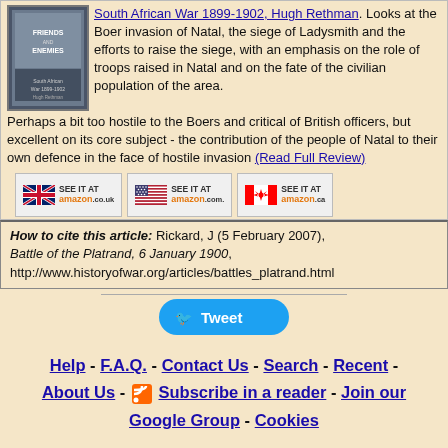[Figure (illustration): Book cover image for Friends and Enemies - South African War 1899-1902 by Hugh Rethman]
South African War 1899-1902, Hugh Rethman. Looks at the Boer invasion of Natal, the siege of Ladysmith and the efforts to raise the siege, with an emphasis on the role of troops raised in Natal and on the fate of the civilian population of the area. Perhaps a bit too hostile to the Boers and critical of British officers, but excellent on its core subject - the contribution of the people of Natal to their own defence in the face of hostile invasion (Read Full Review)
[Figure (screenshot): Three Amazon buy buttons: amazon.co.uk, amazon.com, amazon.ca]
How to cite this article: Rickard, J (5 February 2007), Battle of the Platrand, 6 January 1900, http://www.historyofwar.org/articles/battles_platrand.html
[Figure (other): Tweet button]
Help - F.A.Q. - Contact Us - Search - Recent - About Us - Subscribe in a reader - Join our Google Group - Cookies